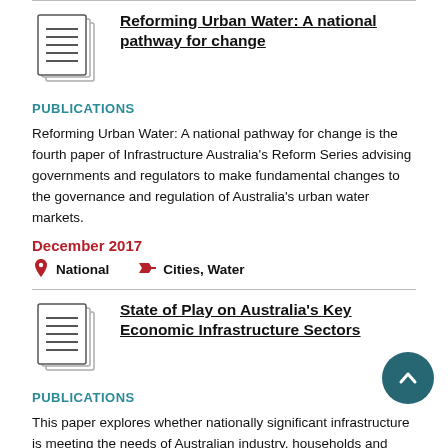[Figure (illustration): Document/pages icon for publication 1]
Reforming Urban Water: A national pathway for change
PUBLICATIONS
Reforming Urban Water: A national pathway for change is the fourth paper of Infrastructure Australia's Reform Series advising governments and regulators to make fundamental changes to the governance and regulation of Australia's urban water markets.
December 2017
National   Cities, Water
[Figure (illustration): Document/pages icon for publication 2]
State of Play on Australia's Key Economic Infrastructure Sectors
PUBLICATIONS
This paper explores whether nationally significant infrastructure is meeting the needs of Australian industry, households and individuals, across the key sectors of: